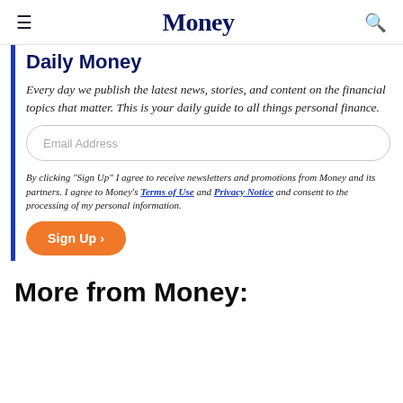Money
Daily Money
Every day we publish the latest news, stories, and content on the financial topics that matter. This is your daily guide to all things personal finance.
Email Address
By clicking "Sign Up" I agree to receive newsletters and promotions from Money and its partners. I agree to Money's Terms of Use and Privacy Notice and consent to the processing of my personal information.
Sign Up ›
More from Money: